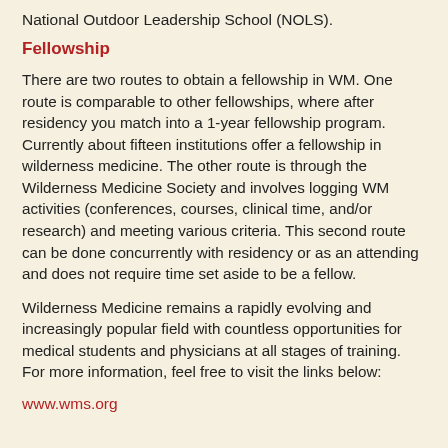National Outdoor Leadership School (NOLS).
Fellowship
There are two routes to obtain a fellowship in WM. One route is comparable to other fellowships, where after residency you match into a 1-year fellowship program. Currently about fifteen institutions offer a fellowship in wilderness medicine. The other route is through the Wilderness Medicine Society and involves logging WM activities (conferences, courses, clinical time, and/or research) and meeting various criteria. This second route can be done concurrently with residency or as an attending and does not require time set aside to be a fellow.
Wilderness Medicine remains a rapidly evolving and increasingly popular field with countless opportunities for medical students and physicians at all stages of training. For more information, feel free to visit the links below:
www.wms.org